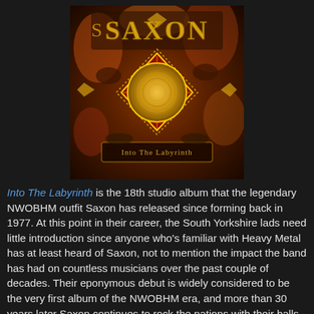[Figure (illustration): Saxon 'Into The Labyrinth' album cover art. Dark fiery orange/brown background with ornate gold lettering spelling SAXON at the top. A circular golden mandala/shield emblem in the center with red diamond shape and dotted border. Gothic fantasy artwork with decorative elements. Text at bottom reads 'Into The Labyrinth'.]
Into The Labyrinth is the 18th studio album that the legendary NWOBHM outfit Saxon has released since forming back in 1977. At this point in their career, the South Yorkshire lads need little introduction since anyone who's familiar with Heavy Metal has at least heard of Saxon, not to mention the impact the band has had on countless musicians over the past couple of decades. Their eponymous debut is widely considered to be the very first album of the NWOBHM era, and more than 30 years later Saxon continues to rock the nations with their balls-out brand of pure Heavy Metal. For those readers who are pressed for time, I'll summarize this review by simply stating